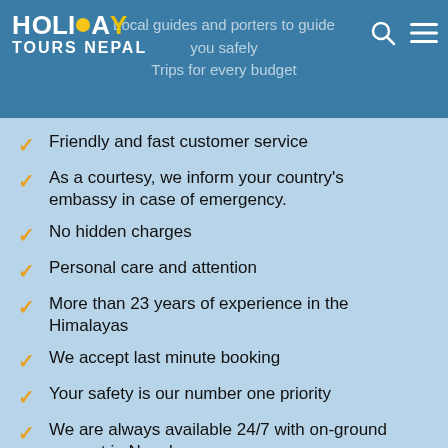Holiday Tours Nepal — Local guides and porters to guide you safely — Trips for every budget
Friendly and fast customer service
As a courtesy, we inform your country's embassy in case of emergency.
No hidden charges
Personal care and attention
More than 23 years of experience in the Himalayas
We accept last minute booking
Your safety is our number one priority
We are always available 24/7 with on-ground support in Nepal
We care about local welfare and take care of our guides and porters